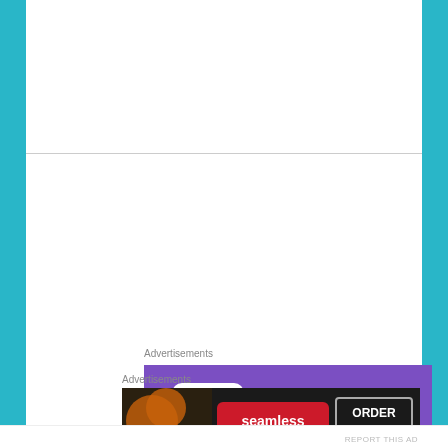Advertisements
[Figure (screenshot): WooCommerce advertisement banner showing purple speech bubble logo with 'woo COMMERCE' text, green triangle decoration, blue circle decoration, and text 'How to start selling subscriptions online']
Advertisements
[Figure (screenshot): Seamless food delivery advertisement banner with pizza image on dark background, seamless logo in red, and 'ORDER NOW' button]